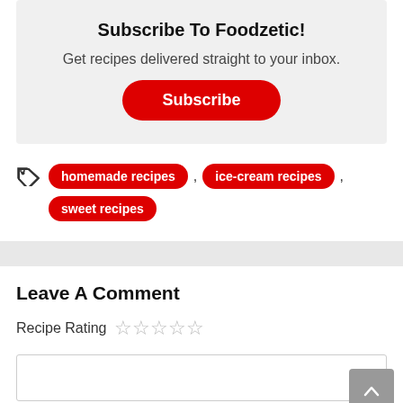Subscribe To Foodzetic!
Get recipes delivered straight to your inbox.
Subscribe
homemade recipes
ice-cream recipes
sweet recipes
Leave A Comment
Recipe Rating